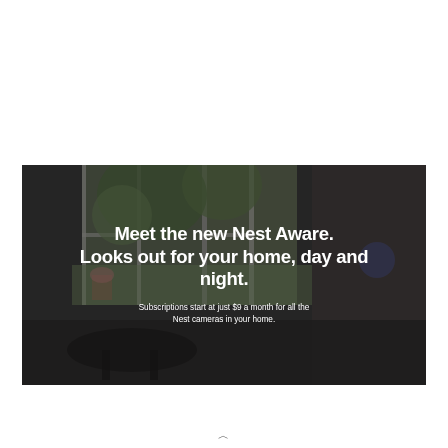[Figure (photo): Dark-tinted indoor home scene with large windows showing greenery outside. Overlaid with bold white headline text: 'Meet the new Nest Aware. Looks out for your home, day and night.' and subtext 'Subscriptions start at just $9 a month for all the Nest cameras in your home.']